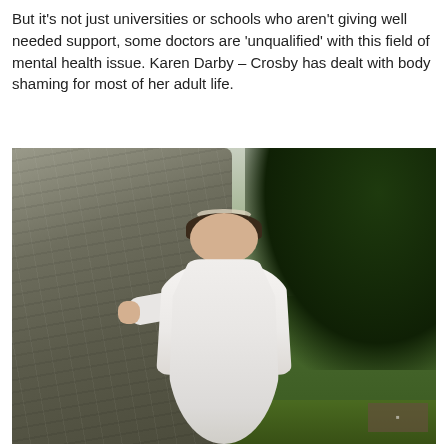But it's not just universities or schools who aren't giving well needed support, some doctors are 'unqualified' with this field of mental health issue. Karen Darby – Crosby has dealt with body shaming for most of her adult life.
[Figure (photo): A woman wearing a white wedding dress and tiara, standing next to a large tree trunk outdoors. She is smiling and has one hand resting on the tree. Green trees are visible in the background. A small watermark is visible in the bottom right corner of the photo.]